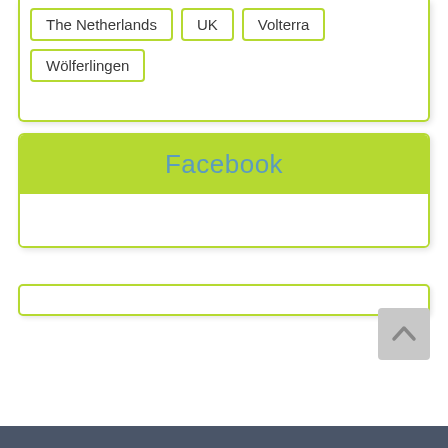The Netherlands
UK
Volterra
Wölferlingen
Facebook
[Figure (other): Scroll to top button with upward chevron arrow on grey background]